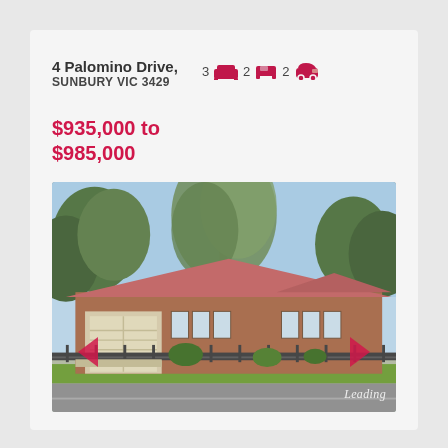4 Palomino Drive, SUNBURY VIC 3429
3 bed  2 bath  2 car
$935,000 to $985,000
[Figure (photo): Front exterior of a single-storey brick house with red roof, white garage door, trees in front, green lawn, and iron fence along the street. Navigation arrows visible. 'Leading' watermark in bottom right.]